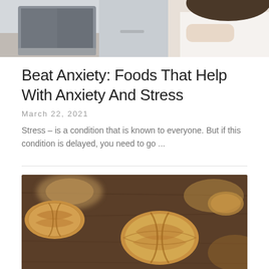[Figure (photo): A person sitting at a laptop computer, viewed from above, representing work stress or anxiety]
Beat Anxiety: Foods That Help With Anxiety And Stress
March 22, 2021
Stress – is a condition that is known to everyone. But if this condition is delayed, you need to go ...
[Figure (photo): Close-up photo of walnut halves scattered on a dark wooden surface, with shallow depth of field blur]